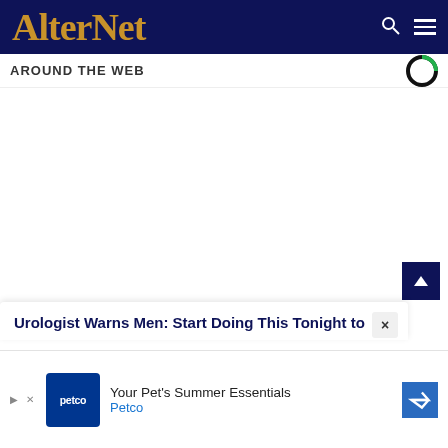AlterNet
AROUND THE WEB
Urologist Warns Men: Start Doing This Tonight to
Your Pet's Summer Essentials Petco